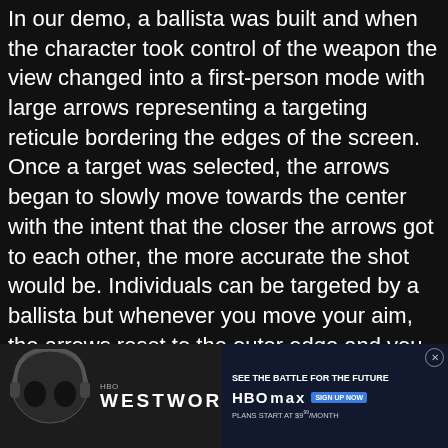In our demo, a ballista was built and when the character took control of the weapon the view changed into a first-person mode with large arrows representing a targeting reticule bordering the edges of the screen. Once a target was selected, the arrows began to slowly move towards the center with the intent that the closer the arrows got to each other, the more accurate the shot would be. Individuals can be targeted by a ballista but whenever you move your aim, the arrows reset to the outer edge and you will have a hard time hitting your target. Still, for the NPC that stood still long enough the ballista did a great deal of damage.
When a siege weapon takes damage, it will be possible for players to repair it. To do this the weapon must be unman[ned and...] ht-
clickin[g...] r of
[Figure (screenshot): Advertisement overlay: Westworld HBO Max promotion with skull imagery on dark background. Text reads 'SEE THE BATTLE FOR THE FUTURE', 'HBO MAX' logo with 'SIGN UP NOW' button, 'PLANS START AT $9.99/MONTH'. Close button (X) in top right corner.]